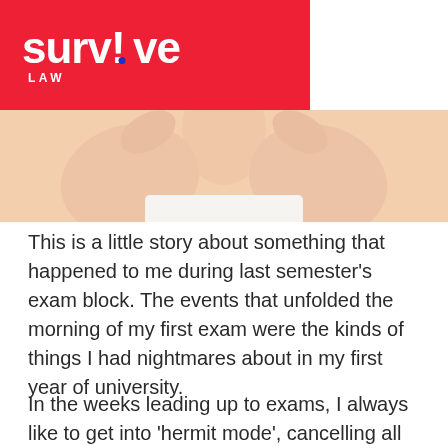[Figure (photo): Person holding their head/neck with both hands, wearing a white top, viewed from below chin level, suggesting stress or anxiety]
This is a little story about something that happened to me during last semester’s exam block. The events that unfolded the morning of my first exam were the kinds of things I had nightmares about in my first year of university.
In the weeks leading up to exams, I always like to get into ‘hermit mode’, cancelling all social obligations and sending my friends the “I’ll see you in